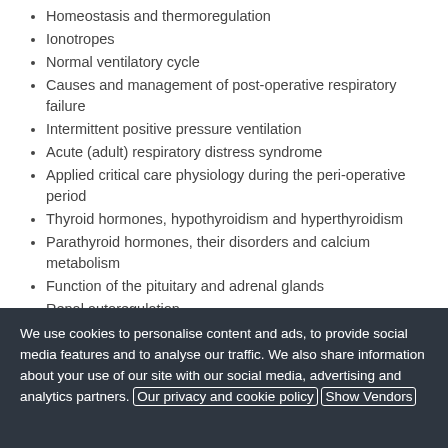Homeostasis and thermoregulation
Ionotropes
Normal ventilatory cycle
Causes and management of post-operative respiratory failure
Intermittent positive pressure ventilation
Acute (adult) respiratory distress syndrome
Applied critical care physiology during the peri-operative period
Thyroid hormones, hypothyroidism and hyperthyroidism
Parathyroid hormones, their disorders and calcium metabolism
Function of the pituitary and adrenal glands
Renal autoregulation
Renin-angiotensin system
We use cookies to personalise content and ads, to provide social media features and to analyse our traffic. We also share information about your use of our site with our social media, advertising and analytics partners. Our privacy and cookie policy Show Vendors